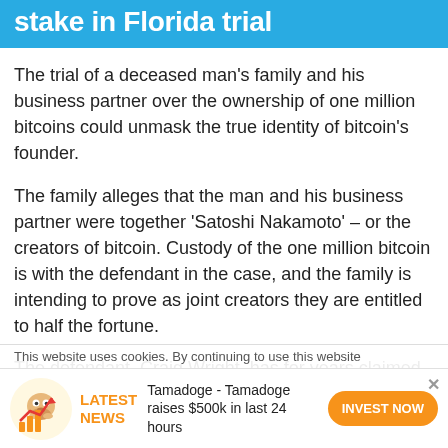stake in Florida trial
The trial of a deceased man's family and his business partner over the ownership of one million bitcoins could unmask the true identity of bitcoin's founder.
The family alleges that the man and his business partner were together 'Satoshi Nakamoto' – or the creators of bitcoin. Custody of the one million bitcoin is with the defendant in the case, and the family is intending to prove as joint creators they are entitled to half the fortune.
The defendant, Craig Wright, has for years claimed to be the founder of bitcoin, something that is
This website uses cookies. By continuing to use this website
LATEST NEWS Tamadoge - Tamadoge raises $500k in last 24 hours INVEST NOW